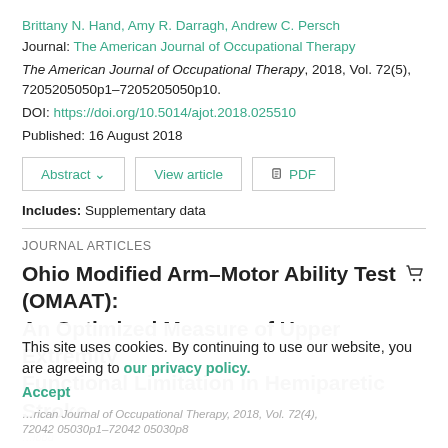Brittany N. Hand, Amy R. Darragh, Andrew C. Persch
Journal: The American Journal of Occupational Therapy
The American Journal of Occupational Therapy, 2018, Vol. 72(5), 7205205050p1–7205205050p10.
DOI: https://doi.org/10.5014/ajot.2018.025510
Published: 16 August 2018
Includes: Supplementary data
JOURNAL ARTICLES
Ohio Modified Arm–Motor Ability Test (OMAAT): An Optimized Measure of Upper Extremity Functional Limitation in Hemiparetic Stroke
This site uses cookies. By continuing to use our website, you are agreeing to our privacy policy. Accept